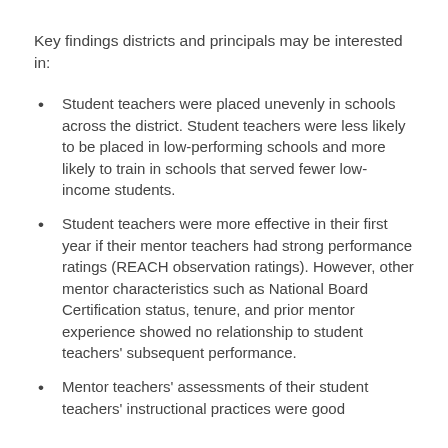Key findings districts and principals may be interested in:
Student teachers were placed unevenly in schools across the district. Student teachers were less likely to be placed in low-performing schools and more likely to train in schools that served fewer low-income students.
Student teachers were more effective in their first year if their mentor teachers had strong performance ratings (REACH observation ratings). However, other mentor characteristics such as National Board Certification status, tenure, and prior mentor experience showed no relationship to student teachers' subsequent performance.
Mentor teachers' assessments of their student teachers' instructional practices were good